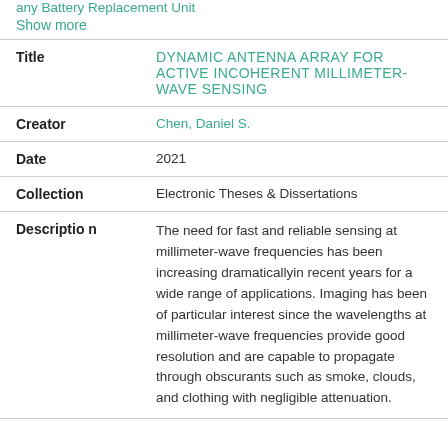Show more
| Field | Value |
| --- | --- |
| Title | DYNAMIC ANTENNA ARRAY FOR ACTIVE INCOHERENT MILLIMETER-WAVE SENSING |
| Creator | Chen, Daniel S. |
| Date | 2021 |
| Collection | Electronic Theses & Dissertations |
| Description | The need for fast and reliable sensing at millimeter-wave frequencies has been increasing dramaticallyin recent years for a wide range of applications. Imaging has been of particular interest since the wavelengths at millimeter-wave frequencies provide good resolution and are capable to propagate through obscurants such as smoke, clouds, and clothing with negligible attenuation. |